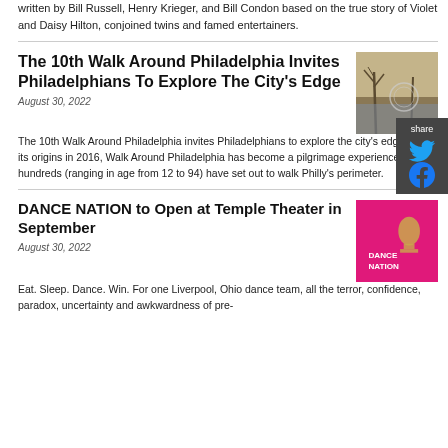written by Bill Russell, Henry Krieger, and Bill Condon based on the true story of Violet and Daisy Hilton, conjoined twins and famed entertainers.
The 10th Walk Around Philadelphia Invites Philadelphians To Explore The City's Edge
August 30, 2022
[Figure (photo): Outdoor photo showing a waterway or river edge with bare trees and a circular emblem or sign]
The 10th Walk Around Philadelphia invites Philadelphians to explore the city's edge! Since its origins in 2016, Walk Around Philadelphia has become a pilgrimage experience where hundreds (ranging in age from 12 to 94) have set out to walk Philly's perimeter.
DANCE NATION to Open at Temple Theater in September
August 30, 2022
[Figure (photo): Pink/magenta promotional poster for DANCE NATION showing text DANCE NATION on bright pink background]
Eat. Sleep. Dance. Win. For one Liverpool, Ohio dance team, all the terror, confidence, paradox, uncertainty and awkwardness of pre-